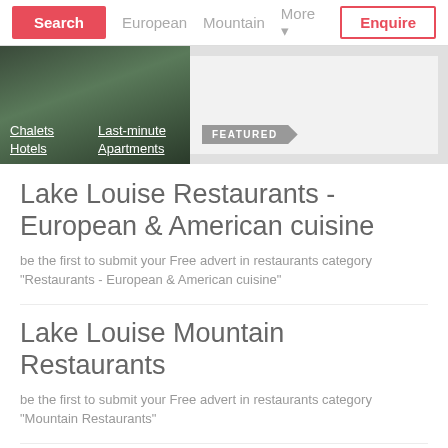Search | European | Mountain | More | Enquire
[Figure (screenshot): Hero banner with mountain/chalet image on left showing links: Chalets, Last-minute, Hotels, Apartments. Right side shows a featured box with FEATURED tag.]
Lake Louise Restaurants - European & American cuisine
be the first to submit your Free advert in restaurants category "Restaurants - European & American cuisine"
Lake Louise Mountain Restaurants
be the first to submit your Free advert in restaurants category "Mountain Restaurants"
Lake Louise Chinese Indian and